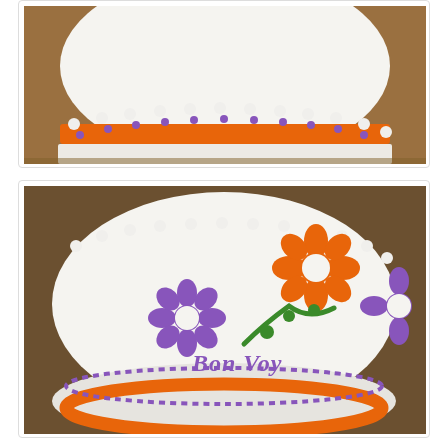[Figure (photo): Top portion of a decorated round cake with white frosting, orange border trim, and purple dot decorations on a wooden table surface. Partial view cropped at top.]
[Figure (photo): Close-up of a round cake with white frosting decorated with orange and purple flower designs made of frosting, green stem, and 'Bon Voyage' text written in purple frosting. Orange border at base and white pearl border on top edge.]
And because I can't leave well enough alone...I made some chocolate cupcakes for her as well.
[Figure (photo): Tray of chocolate cupcakes topped with white frosting/whipped cream and chocolate chips, viewed from above.]